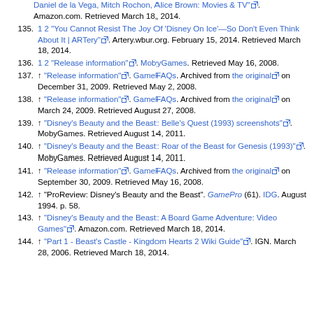Daniel de la Vega, Mitch Rochon, Alice Brown: Movies & TV". Amazon.com. Retrieved March 18, 2014.
135. 1 2 "You Cannot Resist The Joy Of 'Disney On Ice'—So Don't Even Think About It | ARTery". Artery.wbur.org. February 15, 2014. Retrieved March 18, 2014.
136. 1 2 "Release information". MobyGames. Retrieved May 16, 2008.
137. ↑ "Release information". GameFAQs. Archived from the original on December 31, 2009. Retrieved May 2, 2008.
138. ↑ "Release information". GameFAQs. Archived from the original on March 24, 2009. Retrieved August 27, 2008.
139. ↑ "Disney's Beauty and the Beast: Belle's Quest (1993) screenshots". MobyGames. Retrieved August 14, 2011.
140. ↑ "Disney's Beauty and the Beast: Roar of the Beast for Genesis (1993)". MobyGames. Retrieved August 14, 2011.
141. ↑ "Release information". GameFAQs. Archived from the original on September 30, 2009. Retrieved May 16, 2008.
142. ↑ "ProReview: Disney's Beauty and the Beast". GamePro (61). IDG. August 1994. p. 58.
143. ↑ "Disney's Beauty and the Beast: A Board Game Adventure: Video Games". Amazon.com. Retrieved March 18, 2014.
144. ↑ "Part 1 - Beast's Castle - Kingdom Hearts 2 Wiki Guide". IGN. March 28, 2006. Retrieved March 18, 2014.